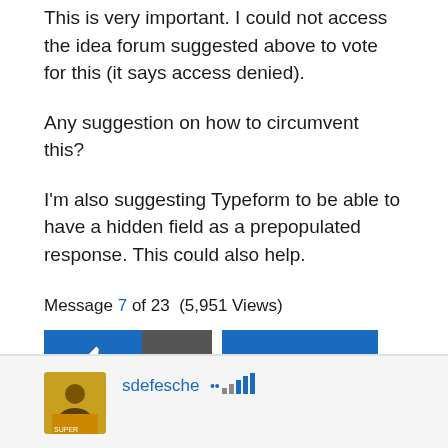This is very important. I could not access the idea forum suggested above to vote for this (it says access denied).
Any suggestion on how to circumvent this?
I'm also suggesting Typeform to be able to have a hidden field as a prepopulated response. This could also help.
Message 7 of 23  (5,951 Views)
[Figure (other): Like button (thumbs up icon, blue background), count badge showing 0 (dark gray background), and Reply button (blue background)]
sdefesche